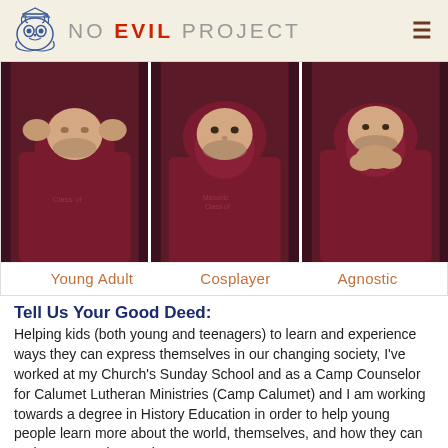NO EVIL PROJECT
[Figure (photo): Three photos of a young man in a maroon hoodie: (left) hands over ears, (center) looking straight ahead, (right) hands clasped near chin]
Young Adult   Cosplayer   Agnostic
Tell Us Your Good Deed:
Helping kids (both young and teenagers) to learn and experience ways they can express themselves in our changing society, I've worked at my Church's Sunday School and as a Camp Counselor for Calumet Lutheran Ministries (Camp Calumet) and I am working towards a degree in History Education in order to help young people learn more about the world, themselves, and how they can make a strong impact in our 21st century